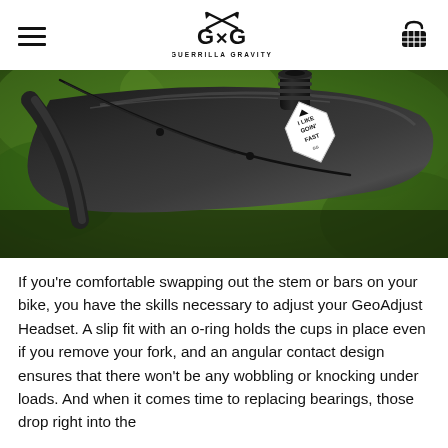Guerrilla Gravity — navigation header with logo
[Figure (photo): Close-up photograph of a mountain bike frame top tube showing a GG (Guerrilla Gravity) sticker that reads 'I LIKE GOIN' FAST', with brake cables routed along the frame and a fork steerer tube visible at top, with blurred green foliage background.]
If you're comfortable swapping out the stem or bars on your bike, you have the skills necessary to adjust your GeoAdjust Headset. A slip fit with an o-ring holds the cups in place even if you remove your fork, and an angular contact design ensures that there won't be any wobbling or knocking under loads. And when it comes time to replacing bearings, those drop right into the